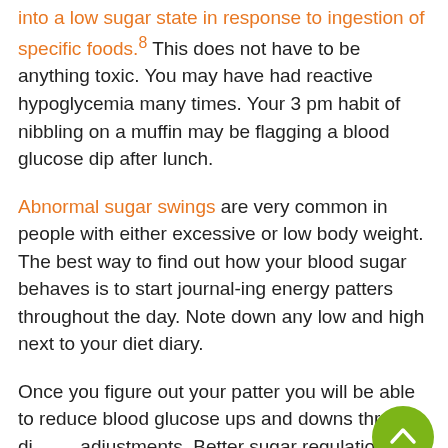into a low sugar state in response to ingestion of specific foods.8 This does not have to be anything toxic. You may have had reactive hypoglycemia many times. Your 3 pm habit of nibbling on a muffin may be flagging a blood glucose dip after lunch.
Abnormal sugar swings are very common in people with either excessive or low body weight. The best way to find out how your blood sugar behaves is to start journal-ing energy patters throughout the day. Note down any low and high next to your diet diary.
Once you figure out your patter you will be able to reduce blood glucose ups and downs through dietary adjustments. Better sugar regulation throughout the day can make a big difference to frequency of recurring colds.